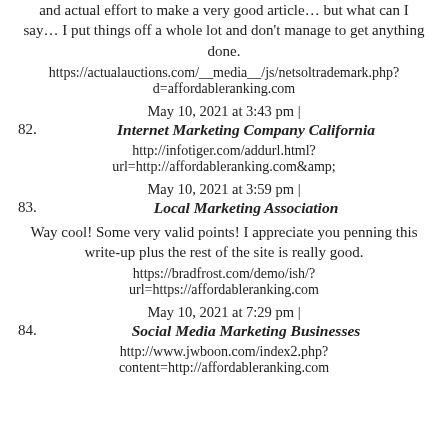and actual effort to make a very good article… but what can I say… I put things off a whole lot and don't manage to get anything done.
https://actualauctions.com/__media__/js/netsoltrademark.php?d=affordableranking.com
May 10, 2021 at 3:43 pm |
82. Internet Marketing Company California
http://infotiger.com/addurl.html?url=http://affordableranking.com&amp;
May 10, 2021 at 3:59 pm |
83. Local Marketing Association
Way cool! Some very valid points! I appreciate you penning this write-up plus the rest of the site is really good.
https://bradfrost.com/demo/ish/?url=https://affordableranking.com
May 10, 2021 at 7:29 pm |
84. Social Media Marketing Businesses
http://www.jwboon.com/index2.php?content=http://affordableranking.com